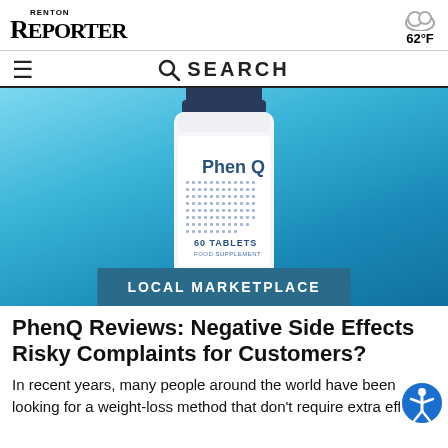RENTON REPORTER  62°F
≡  🔍 SEARCH
[Figure (photo): PhenQ supplement bottle (60 tablets, food supplement) on a blue gradient background, with a teal 'LOCAL MARKETPLACE' banner overlay at the bottom.]
LOCAL MARKETPLACE
PhenQ Reviews: Negative Side Effects Risky Complaints for Customers?
In recent years, many people around the world have been looking for a weight-loss method that doesn't require extra effort.